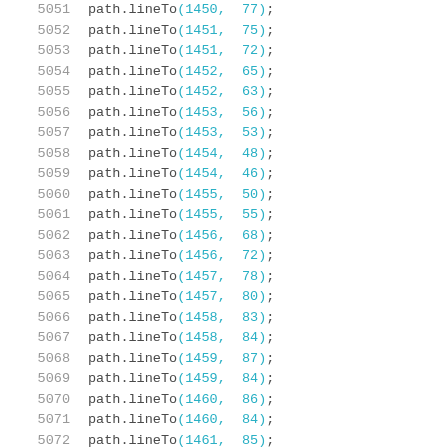5051    path.lineTo(1450, 77);
5052    path.lineTo(1451, 75);
5053    path.lineTo(1451, 72);
5054    path.lineTo(1452, 65);
5055    path.lineTo(1452, 63);
5056    path.lineTo(1453, 56);
5057    path.lineTo(1453, 53);
5058    path.lineTo(1454, 48);
5059    path.lineTo(1454, 46);
5060    path.lineTo(1455, 50);
5061    path.lineTo(1455, 55);
5062    path.lineTo(1456, 68);
5063    path.lineTo(1456, 72);
5064    path.lineTo(1457, 78);
5065    path.lineTo(1457, 80);
5066    path.lineTo(1458, 83);
5067    path.lineTo(1458, 84);
5068    path.lineTo(1459, 87);
5069    path.lineTo(1459, 84);
5070    path.lineTo(1460, 86);
5071    path.lineTo(1460, 84);
5072    path.lineTo(1461, 85);